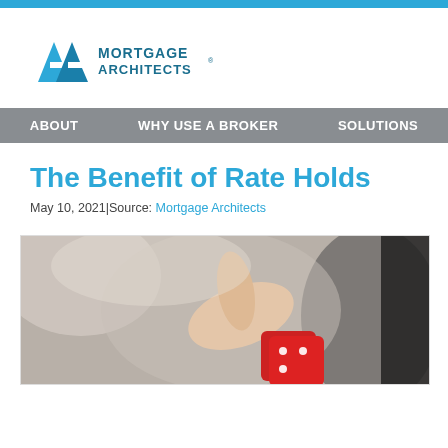[Figure (logo): Mortgage Architects logo with stylized AA letter mark in blue and teal, and text 'MORTGAGE ARCHITECTS' in dark blue/teal]
ABOUT  WHY USE A BROKER  SOLUTIONS
The Benefit of Rate Holds
May 10, 2021|Source: Mortgage Architects
[Figure (photo): Close-up photo of a hand holding a red dice, blurred background]